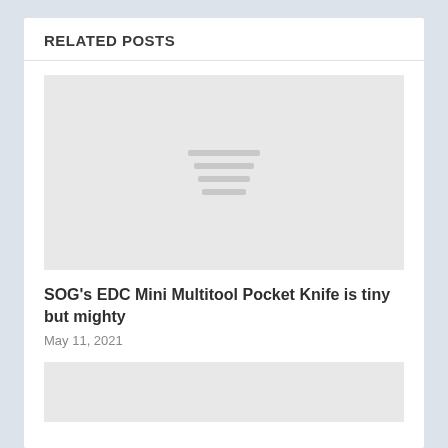RELATED POSTS
[Figure (photo): Placeholder image for a related post thumbnail — light gray rectangle with three darker gray horizontal lines centered]
SOG's EDC Mini Multitool Pocket Knife is tiny but mighty
May 11, 2021
[Figure (photo): Placeholder image for a second related post thumbnail — light gray rectangle, partially visible at bottom of page]